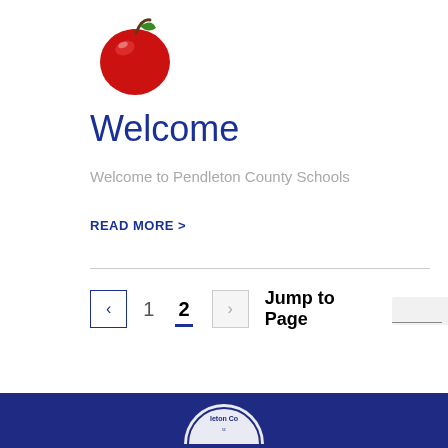[Figure (logo): Red apple illustration used as school logo]
Welcome
Welcome to Pendleton County Schools
READ MORE >
[Figure (other): Pagination controls showing back arrow, page 1, page 2 (active), forward arrow, and Jump to Page input field]
[Figure (logo): Pendleton County Schools circular seal logo partially visible at bottom center]